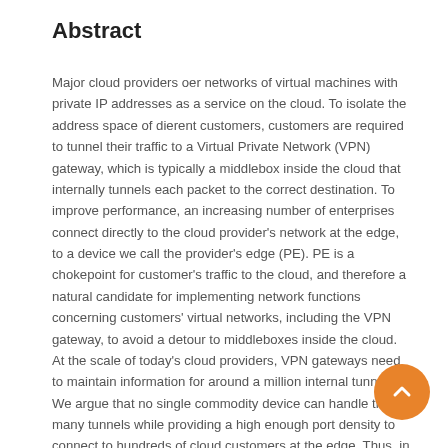Abstract
Major cloud providers oer networks of virtual machines with private IP addresses as a service on the cloud. To isolate the address space of dierent customers, customers are required to tunnel their traffic to a Virtual Private Network (VPN) gateway, which is typically a middlebox inside the cloud that internally tunnels each packet to the correct destination. To improve performance, an increasing number of enterprises connect directly to the cloud provider's network at the edge, to a device we call the provider's edge (PE). PE is a chokepoint for customer's traffic to the cloud, and therefore a natural candidate for implementing network functions concerning customers' virtual networks, including the VPN gateway, to avoid a detour to middleboxes inside the cloud. At the scale of today's cloud providers, VPN gateways need to maintain information for around a million internal tunnels. We argue that no single commodity device can handle these many tunnels while providing a high enough port density to connect to hundreds of cloud customers at the edge. Thus, in this paper, we propose a hybrid architecture for the PE, consisting of a commodity switch connected to a commodity server which uses Data-Plane Development Kit (DPDK) for fast packet processing. This